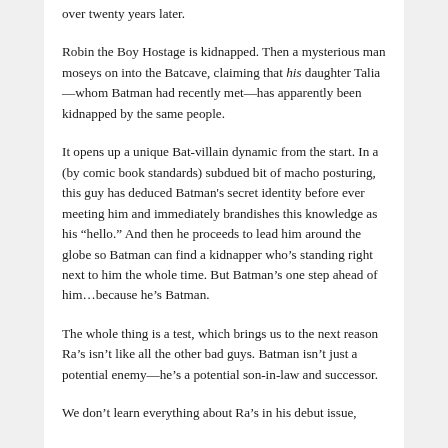over twenty years later.
Robin the Boy Hostage is kidnapped. Then a mysterious man moseys on into the Batcave, claiming that his daughter Talia—whom Batman had recently met—has apparently been kidnapped by the same people.
It opens up a unique Bat-villain dynamic from the start. In a (by comic book standards) subdued bit of macho posturing, this guy has deduced Batman's secret identity before ever meeting him and immediately brandishes this knowledge as his “hello.” And then he proceeds to lead him around the globe so Batman can find a kidnapper who’s standing right next to him the whole time. But Batman’s one step ahead of him…because he’s Batman.
The whole thing is a test, which brings us to the next reason Ra's isn’t like all the other bad guys. Batman isn’t just a potential enemy—he’s a potential son-in-law and successor.
We don’t learn everything about Ra’s in his debut issue,